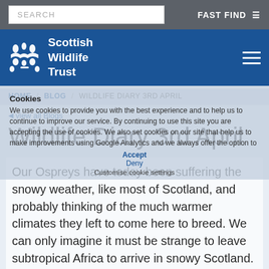SEARCH | FAST FIND
[Figure (logo): Scottish Wildlife Trust logo with decorative crest and text on blue navigation bar]
HOME / BLOG / WILDLIFE DIARY 3RD APRIL
view all Blogs
Wildlife Diary 3rd April
Our Ospreys have today been suffering the snowy weather, like most of Scotland, and probably thinking of the much warmer climates they left to come here to breed. We can only imagine it must be strange to leave subtropical Africa to arrive in snowy Scotland.
I am often asked why the birds bother which